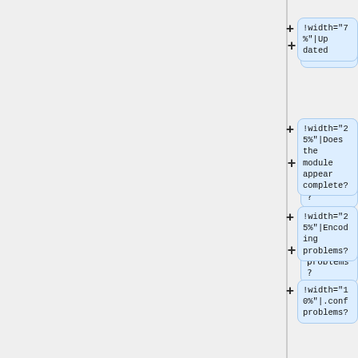[Figure (flowchart): Partial flowchart/diagram showing a vertical list of node boxes with plus signs, each containing wiki table markup or label text: '!width="7%"|Updated', '!width="25%"|Does the module appear complete?', '!width="25%"|Encoding problems?', '!width="10%"|.conf problems?', '!Display problems on any frontend?', '!width="1%"|Ready / Fix / Hold', and one empty box.]